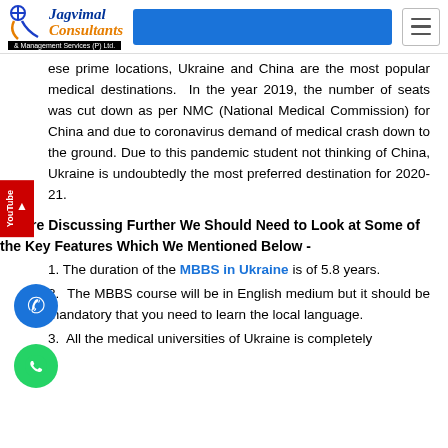Jagvimal Consultants & Management Services (P) Ltd.
ese prime locations, Ukraine and China are the most popular medical destinations. In the year 2019, the number of seats was cut down as per NMC (National Medical Commission) for China and due to coronavirus demand of medical crash down to the ground. Due to this pandemic student not thinking of China, Ukraine is undoubtedly the most preferred destination for 2020-21.
Before Discussing Further We Should Need to Look at Some of the Key Features Which Mentioned Below -
1. The duration of the MBBS in Ukraine is of 5.8 years.
2. The MBBS course will be in English medium but it should be mandatory that you need to learn the local language.
3. All the medical universities of Ukraine is completely